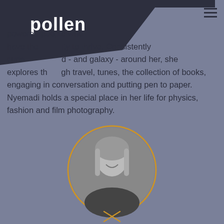[Figure (logo): Pollen brand logo — white text 'pollen' on dark navy polygon shape in top-left corner]
powered people who have the ability to thrive. Consistently curious about the world - and galaxy - around her, she explores through travel, tunes, the collection of books, engaging in conversation and putting pen to paper. Nyemadi holds a special place in her life for physics, fashion and film photography.
[Figure (photo): Black and white circular portrait photo of a smiling woman with long hair, framed by a gold/yellow circular border]